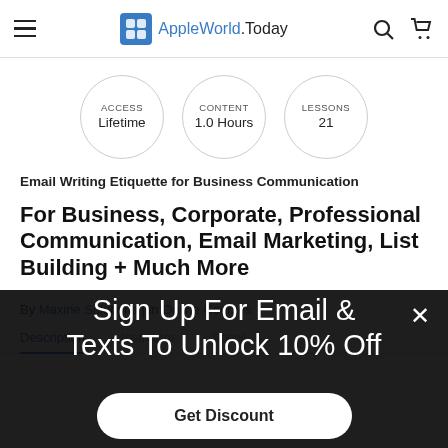AppleWorld.Today
[Figure (infographic): Three circles showing course info: ACCESS Lifetime, CONTENT 1.0 Hours, LESSONS 21]
Email Writing Etiquette for Business Communication
For Business, Corporate, Professional Communication, Email Marketing, List Building + Much More
By Maxine Solutions | in Online Courses
Description  Instructor  Specs
[Figure (screenshot): Dark overlay popup modal with close X button, heading 'Sign Up For Email & Texts To Unlock 10% Off', and a 'Get Discount' button]